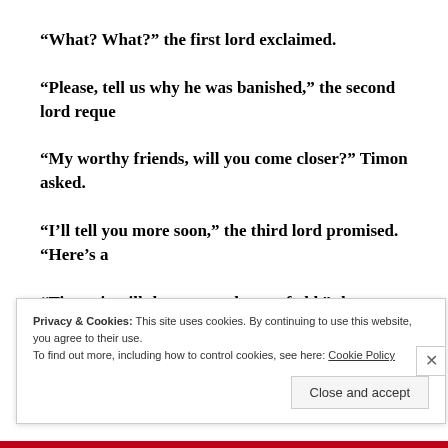“What? What?” the first lord exclaimed.
“Please, tell us why he was banished,” the second lord reque…
“My worthy friends, will you come closer?” Timon asked.
“I’ll tell you more soon,” the third lord promised. “Here’s a…
“Timon is still the man we knew of old,” the second lord sai…
Privacy & Cookies: This site uses cookies. By continuing to use this website, you agree to their use.
To find out more, including how to control cookies, see here: Cookie Policy
Close and accept